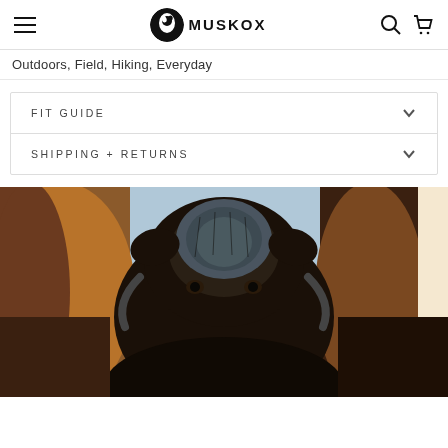MuskOx — navigation bar with hamburger menu, logo, search and cart icons
Outdoors, Field, Hiking, Everyday
FIT GUIDE
SHIPPING + RETURNS
[Figure (photo): Close-up photograph of a musk ox facing the camera, showing its large dark furry head between two other musk oxen. The animals have dark brown and reddish-brown fur with visible horns at the sides.]